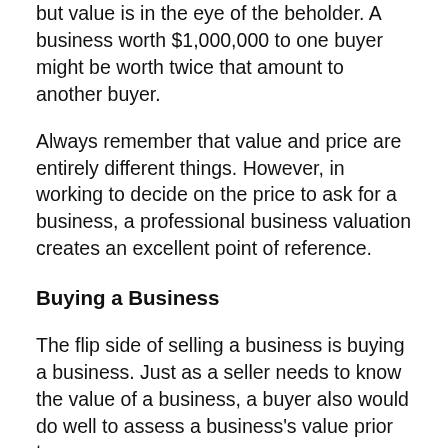but value is in the eye of the beholder. A business worth $1,000,000 to one buyer might be worth twice that amount to another buyer.
Always remember that value and price are entirely different things. However, in working to decide on the price to ask for a business, a professional business valuation creates an excellent point of reference.
Buying a Business
The flip side of selling a business is buying a business. Just as a seller needs to know the value of a business, a buyer also would do well to assess a business's value prior to